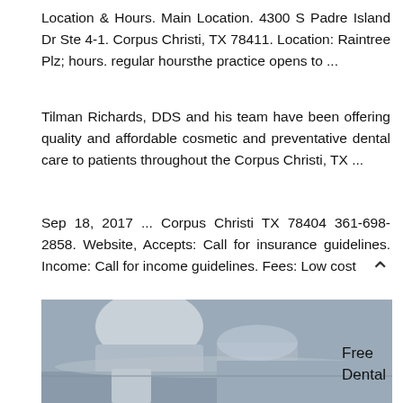Location & Hours. Main Location. 4300 S Padre Island Dr Ste 4-1. Corpus Christi, TX 78411. Location: Raintree Plz; hours. regular hoursthe practice opens to ...
Tilman Richards, DDS and his team have been offering quality and affordable cosmetic and preventative dental care to patients throughout the Corpus Christi, TX ...
Sep 18, 2017 ... Corpus Christi TX 78404 361-698-2858. Website, Accepts: Call for insurance guidelines. Income: Call for income guidelines. Fees: Low cost
When you are looking for a general or cosmetic dentist in the Corpus Christi, TX area, turn to Dr. Tilman Richards and his team for quality, affordable care.
[Figure (photo): Photo of a dental professional treating a patient, woman with brown hair visible]
Free Dental